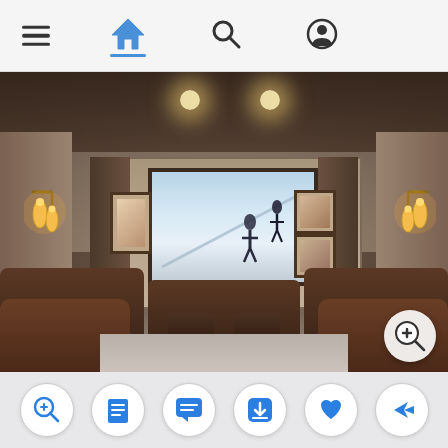[Figure (screenshot): Mobile app UI screenshot showing a top navigation bar with hamburger menu, home icon (highlighted/active), search icon, and user profile icon. Below is a full-width photo of a luxury home theater room with brown leather recliner seats, a large projection screen showing two people on a snowy slope, wall sconces with warm lighting on both sides, framed artwork on the walls, and a zoom-in magnifier button overlay at the bottom right of the photo. Below the photo is a light gray toolbar with six circular blue icon buttons: zoom/magnify, document/listing, chat/message, download, heart/favorite, and share/forward.]